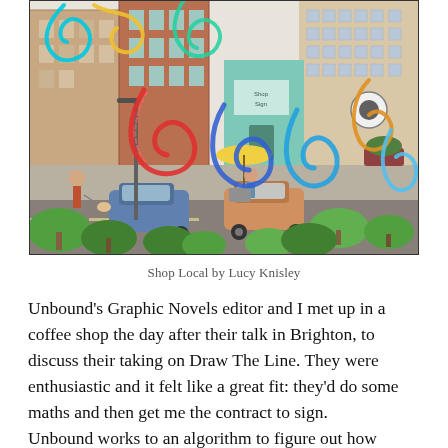[Figure (illustration): An isometric illustration of an urban street scene with buildings, cars, trees, pedestrians, and colorful swirling letters spelling something (Google logo style) floating over the scene. By Lucy Knisley.]
Shop Local by Lucy Knisley
Unbound's Graphic Novels editor and I met up in a coffee shop the day after their talk in Brighton, to discuss their taking on Draw The Line. They were enthusiastic and it felt like a great fit: they'd do some maths and then get me the contract to sign.
Unbound works to an algorithm to figure out how much